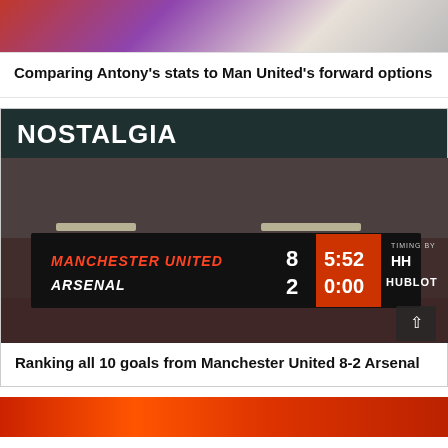[Figure (photo): Top cropped photo of a soccer player in red/white Ajax or similar kit with tattoos visible, purple background]
Comparing Antony's stats to Man United's forward options
NOSTALGIA
[Figure (photo): Scoreboard at Old Trafford showing Manchester United 8-2 Arsenal, time 5:52 / 0:00, Timing by Hublot, with crowd in background]
Ranking all 10 goals from Manchester United 8-2 Arsenal
[Figure (photo): Bottom strip of a photo showing red-kitted football players, partially visible]